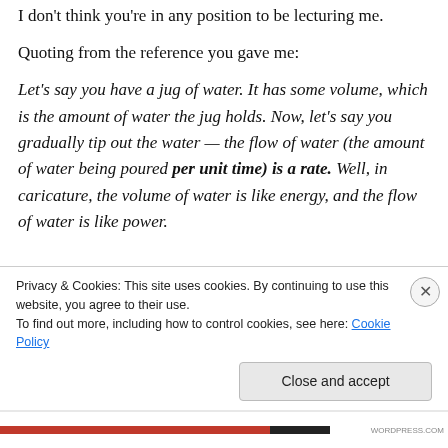I don't think you're in any position to be lecturing me.
Quoting from the reference you gave me:
Let's say you have a jug of water. It has some volume, which is the amount of water the jug holds. Now, let's say you gradually tip out the water — the flow of water (the amount of water being poured per unit time) is a rate. Well, in caricature, the volume of water is like energy, and the flow of water is like power.
Privacy & Cookies: This site uses cookies. By continuing to use this website, you agree to their use.
To find out more, including how to control cookies, see here: Cookie Policy
Close and accept